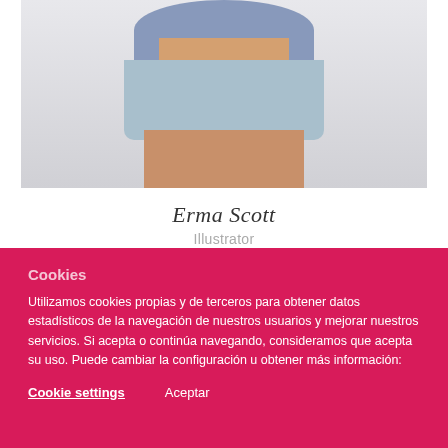[Figure (photo): Fashion photo of a person wearing light blue/grey t-shirt knotted at waist and light wash denim cut-off shorts, cropped to show torso and upper legs]
Erma Scott
Illustrator
Cookies
Utilizamos cookies propias y de terceros para obtener datos estadísticos de la navegación de nuestros usuarios y mejorar nuestros servicios. Si acepta o continúa navegando, consideramos que acepta su uso. Puede cambiar la configuración u obtener más información:
Cookie settings   Aceptar